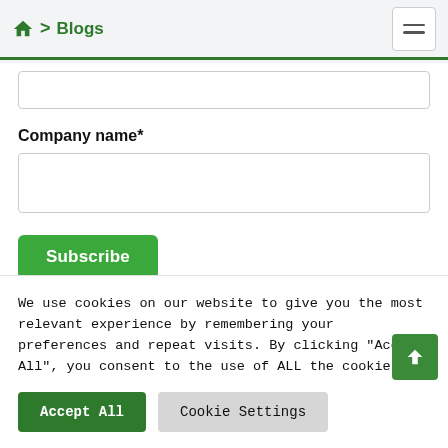🏠 > Blogs
Company name*
We use cookies on our website to give you the most relevant experience by remembering your preferences and repeat visits. By clicking "Accept All", you consent to the use of ALL the cookies.
Accept All
Cookie Settings